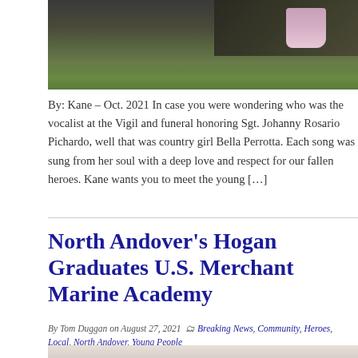[Figure (photo): Partial photo showing someone's feet/shoes standing on dark soil with green grass, viewed from above]
By: Kane – Oct. 2021 In case you were wondering who was the vocalist at the Vigil and funeral honoring Sgt. Johanny Rosario Pichardo, well that was country girl Bella Perrotta. Each song was sung from her soul with a deep love and respect for our fallen heroes. Kane wants you to meet the young […]
North Andover's Hogan Graduates U.S. Merchant Marine Academy
By Tom Duggan on August 27, 2021  Breaking News, Community, Heroes, Local, North Andover, Young People
[Figure (photo): Partial photo at bottom of page, showing people in light clothing]